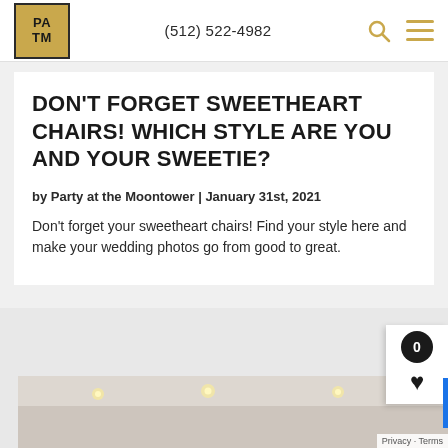PATM | (512) 522-4982
DON'T FORGET SWEETHEART CHAIRS! WHICH STYLE ARE YOU AND YOUR SWEETIE?
by Party at the Moontower | January 31st, 2021
Don't forget your sweetheart chairs! Find your style here and make your wedding photos go from good to great.
[Figure (photo): Bottom partial photo of what appears to be a wedding venue interior with decorative lights]